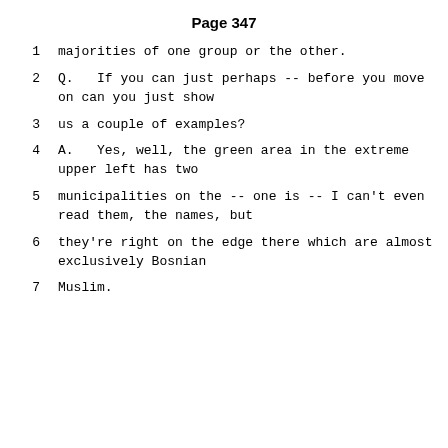Page 347
1    majorities of one group or the other.
2    Q.   If you can just perhaps -- before you move on can you just show
3    us a couple of examples?
4    A.   Yes, well, the green area in the extreme upper left has two
5    municipalities on the -- one is -- I can't even read them, the names, but
6    they're right on the edge there which are almost exclusively Bosnian
7    Muslim.